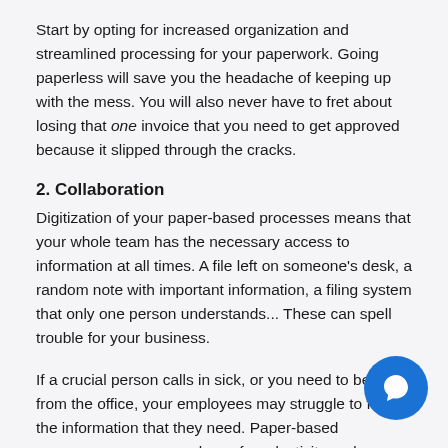Start by opting for increased organization and streamlined processing for your paperwork. Going paperless will save you the headache of keeping up with the mess. You will also never have to fret about losing that one invoice that you need to get approved because it slipped through the cracks.
2. Collaboration
Digitization of your paper-based processes means that your whole team has the necessary access to information at all times. A file left on someone's desk, a random note with important information, a filing system that only one person understands... These can spell trouble for your business.
If a crucial person calls in sick, or you need to be away from the office, your employees may struggle to find the information that they need. Paper-based processes can cause a loss of productivity and a potential drop in customer...
You can avoid a breakdown in necessary information-sh... by going paperless. Files, instead of potentially becoming lost...